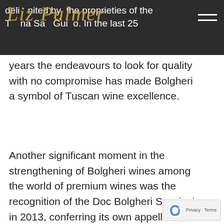delimited by the proprieties of the Tenuta San Guido. In the last 25
[Figure (logo): Liz Palmer cursive gold script logo overlaid on dark header bar]
years the endeavours to look for quality with no compromise has made Bolgheri a symbol of Tuscan wine excellence.
Another significant moment in the strengthening of Bolgheri wines among the world of premium wines was the recognition of the Doc Bolgheri Sassicaia in 2013, conferring its own appellation. A remarkable occurrence since